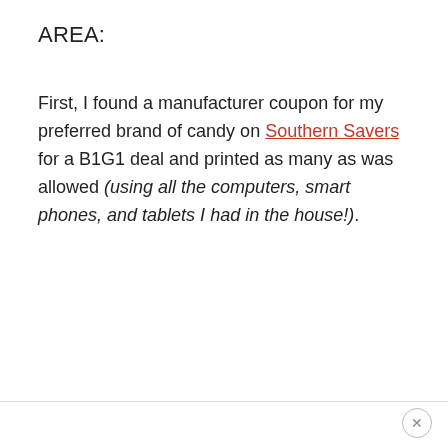AREA:
First, I found a manufacturer coupon for my preferred brand of candy on Southern Savers for a B1G1 deal and printed as many as was allowed (using all the computers, smart phones, and tablets I had in the house!).